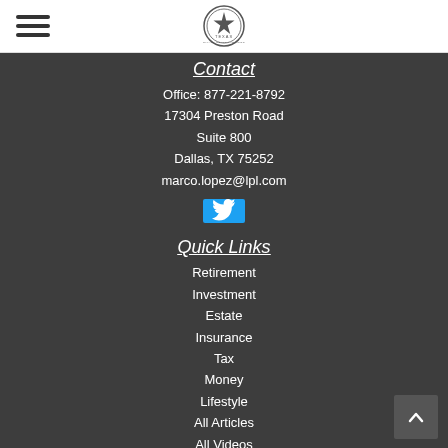[Figure (logo): Texas Private Wealth Advisors circular seal logo with hamburger menu icon on the left]
Contact
Office: 877-221-8792
17304 Preston Road
Suite 800
Dallas, TX 75252
marco.lopez@lpl.com
[Figure (logo): Twitter social media button (blue square with white bird icon)]
Quick Links
Retirement
Investment
Estate
Insurance
Tax
Money
Lifestyle
All Articles
All Videos